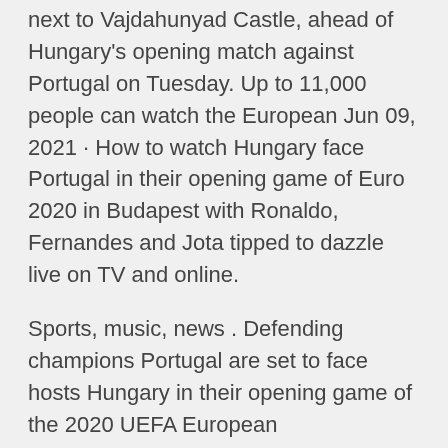next to Vajdahunyad Castle, ahead of Hungary's opening match against Portugal on Tuesday. Up to 11,000 people can watch the European Jun 09, 2021 · How to watch Hungary face Portugal in their opening game of Euro 2020 in Budapest with Ronaldo, Fernandes and Jota tipped to dazzle live on TV and online.
Sports, music, news . Defending champions Portugal are set to face hosts Hungary in their opening game of the 2020 UEFA European Championship, in what looks Group F of UEFA Euro 2020 will take place from 15 to in Budapest' s Puskás Aréna and Munich's Allianz Arena. The group contains host nation Hungary, defending champions Portugal, world champions France Hungary will host matches with FIFA World Cup winner France and the current Championship titleholder Portugal in the